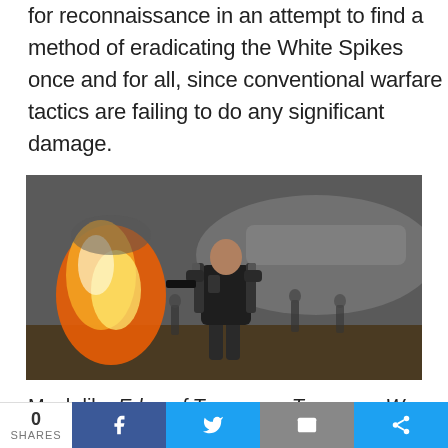for reconnaissance in an attempt to find a method of eradicating the White Spikes once and for all, since conventional warfare tactics are failing to do any significant damage.
[Figure (photo): A soldier in military exosuit armor carrying a weapon, walking through a battle scene with fire and explosions on the left and dark aircraft structures in the background. Other soldiers visible in background.]
Much like Edge of Tomorrow, Tomorrow War
0 SHARES [Facebook] [Twitter] [Email] [More]